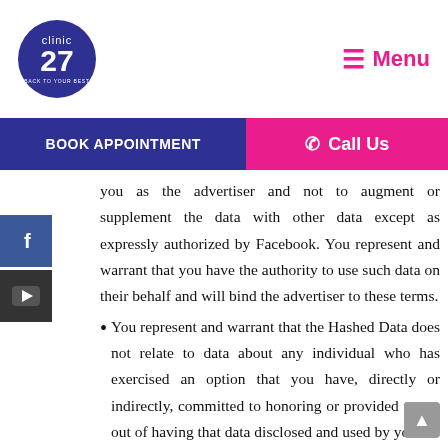[Figure (logo): Clinic 27 circular logo with dark blue background and white text]
[Figure (other): Menu button with hamburger icon in pink/magenta color]
BOOK APPOINTMENT | Call Us
[Figure (logo): Facebook social media icon - blue square with white f]
[Figure (logo): YouTube social media icon - dark square with white play button]
you as the advertiser and not to augment or supplement the data with other data except as expressly authorized by Facebook. You represent and warrant that you have the authority to use such data on their behalf and will bind the advertiser to these terms.
You represent and warrant that the Hashed Data does not relate to data about any individual who has exercised an option that you have, directly or indirectly, committed to honoring or provided to opt out of having that data disclosed and used by you